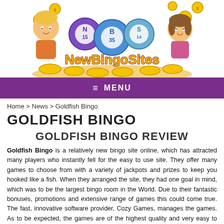[Figure (illustration): NewBingoSites logo with cartoon man and woman, bingo balls (N15, B35, S14), gold coins, and stylized 'NewBingoSites' text on a golden coin pile]
≡ MENU
Home > News > Goldfish Bingo
GOLDFISH BINGO
GOLDFISH BINGO REVIEW
Goldfish Bingo is a relatively new bingo site online, which has attracted many players who instantly fell for the easy to use site. They offer many games to choose from with a variety of jackpots and prizes to keep you hooked like a fish. When they arranged the site, they had one goal in mind, which was to be the largest bingo room in the World. Due to their fantastic bonuses, promotions and extensive range of games this could come true. The fast, innovative software provider, Cozy Games, manages the games. As to be expected, the games are of the highest quality and very easy to use. GoldfishBingo and Cozy